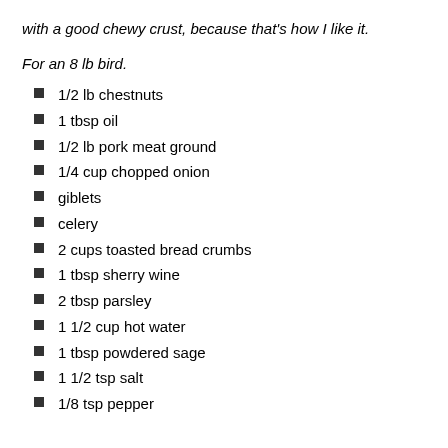with a good chewy crust, because that's how I like it.
For an 8 lb bird.
1/2 lb chestnuts
1 tbsp oil
1/2 lb pork meat ground
1/4 cup chopped onion
giblets
celery
2 cups toasted bread crumbs
1 tbsp sherry wine
2 tbsp parsley
1 1/2 cup hot water
1 tbsp powdered sage
1 1/2 tsp salt
1/8 tsp pepper